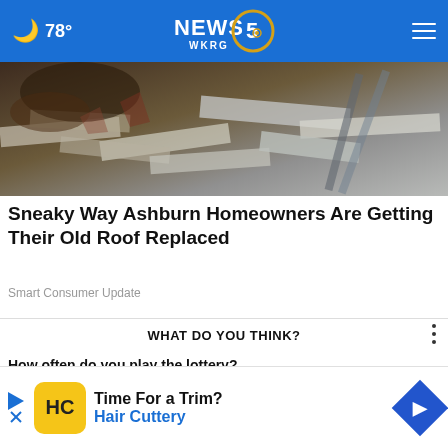78° NEWS 5 WKRG
[Figure (photo): Aerial or close-up photo of old roof shingles and debris, damaged roofing materials scattered]
Sneaky Way Ashburn Homeowners Are Getting Their Old Roof Replaced
Smart Consumer Update
WHAT DO YOU THINK?
How often do you play the lottery?
Very often
S...
[Figure (advertisement): Hair Cuttery ad banner: Time For a Trim? Hair Cuttery, with HC yellow badge logo and blue diamond arrow icon]